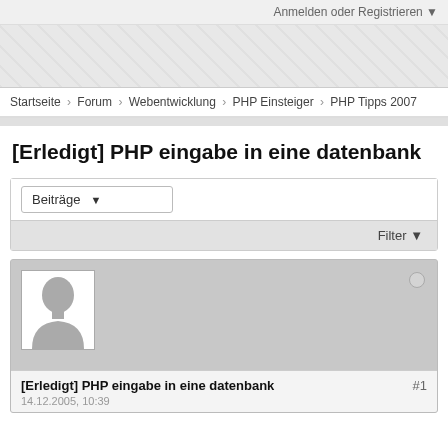Anmelden oder Registrieren ▼
[Figure (other): Banner/advertisement area with diagonal stripe pattern]
Startseite > Forum > Webentwicklung > PHP Einsteiger > PHP Tipps 2007
[Erledigt] PHP eingabe in eine datenbank
Beiträge ▼
Filter ▼
[Erledigt] PHP eingabe in eine datenbank #1
14.12.2005, 10:39